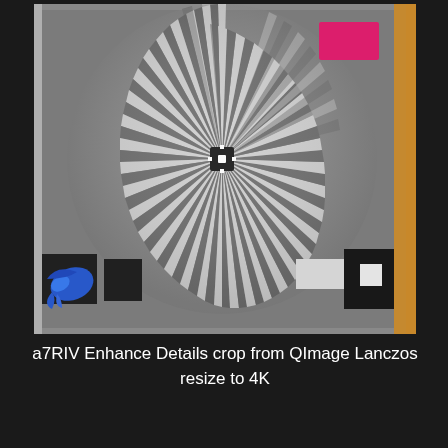[Figure (photo): A camera test chart photograph showing a Siemens star (radial resolution target) with alternating black and white wedges converging at a central crosshair target. The chart includes color patches (magenta/pink square in upper right), black and white reference patches in lower corners, and a blue bird logo in lower left. The image appears blurred/softened, showing the result of QImage Lanczos resize processing. Background is dark gray with an orange-tan border strip visible on the right edge.]
a7RIV Enhance Details crop from QImage Lanczos resize to 4K